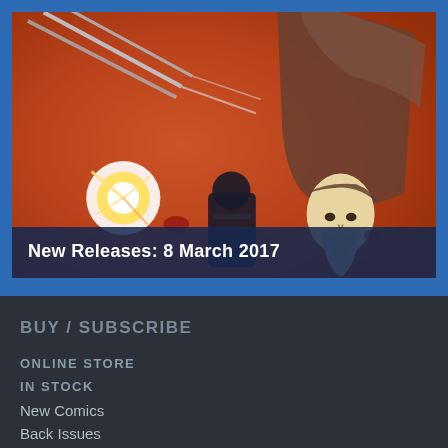[Figure (illustration): Comic book art showing an action scene with a hooded bearded figure wielding blades, a robotic/armored figure in the background, and explosive effects on an orange-red background]
New Releases: 8 March 2017
BUY / SUBSCRIBE
ONLINE STORE
IN STOCK
New Comics
Back Issues